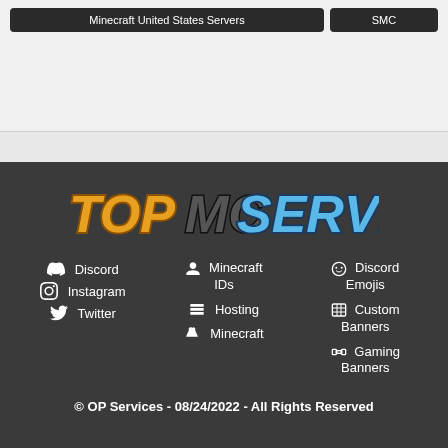Minecraft United States Servers
SMC
[Figure (logo): TopMCServers logo in stylized block text with orange 'TOP', grey 'MC', and blue 'SERVERS']
Discord
Instagram
Twitter
Minecraft IDs
Hosting
Minecraft
Discord Emojis
Custom Banners
Gaming Banners
© OP Services - 08/24/2022 - All Rights Reserved